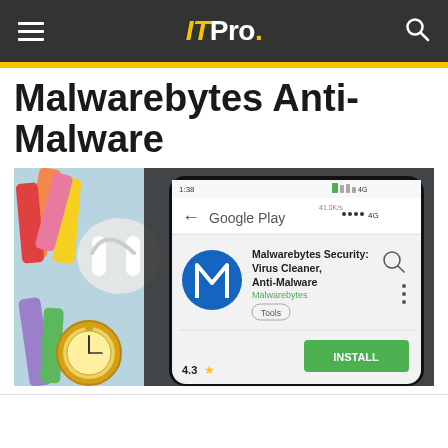ITPro.
Malwarebytes Anti-Malware
[Figure (photo): A smartphone showing the Malwarebytes Security: Virus Cleaner, Anti-Malware app on Google Play Store, with a 4.3 star rating and an INSTALL button, surrounded by colorful chalks, earphones, and a pocket watch on a light blue background.]